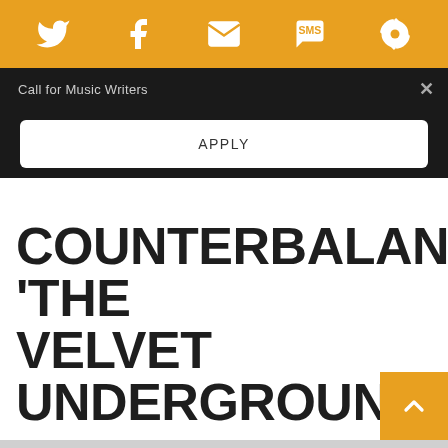Social share icons: Twitter, Facebook, Email, SMS, Feed
Call for Music Writers
APPLY
COUNTERBALANCE: ‘THE VELVET UNDERGROUND’